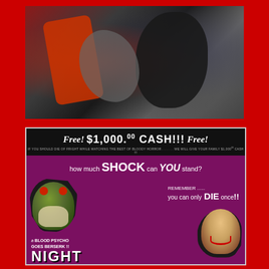[Figure (photo): Dark horror film still showing two figures in a violent struggle, one wearing red, shot in low-light with dark shadows and dramatic color tones]
[Figure (photo): Vintage horror movie promotional poster with black header reading 'Free! $1,000.00 CASH!!! Free!' and purple/maroon background featuring a green zombie skull creature, text reading 'how much SHOCK can YOU stand?', 'REMEMBER...... you can only DIE once!!', 'a BLOOD PSYCHO GOES BERSERK !!', 'NIGHT' title at bottom, with blonde woman screaming on right and figure in center]